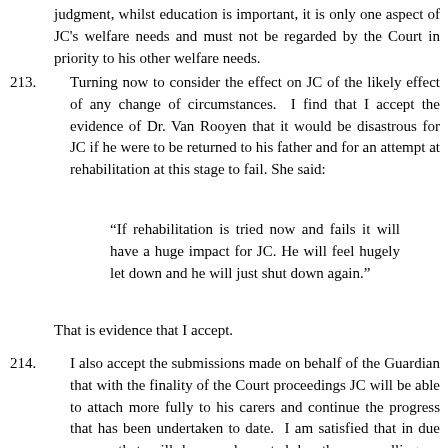judgment, whilst education is important, it is only one aspect of JC's welfare needs and must not be regarded by the Court in priority to his other welfare needs.
213.   Turning now to consider the effect on JC of the likely effect of any change of circumstances. I find that I accept the evidence of Dr. Van Rooyen that it would be disastrous for JC if he were to be returned to his father and for an attempt at rehabilitation at this stage to fail. She said:
“If rehabilitation is tried now and fails it will have a huge impact for JC. He will feel hugely let down and he will just shut down again.”
That is evidence that I accept.
214.   I also accept the submissions made on behalf of the Guardian that with the finality of the Court proceedings JC will be able to attach more fully to his carers and continue the progress that has been undertaken to date. I am satisfied that in due course that will be supplemented by the counselling as recommended by Dr. Van Rooyen for the future and, as it is made clear in the final care plan, that is something that the Local Authority are committed to